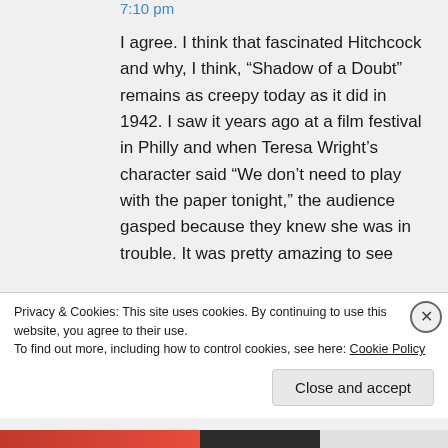7:10 pm
I agree. I think that fascinated Hitchcock and why, I think, “Shadow of a Doubt” remains as creepy today as it did in 1942. I saw it years ago at a film festival in Philly and when Teresa Wright’s character said “We don’t need to play with the paper tonight,” the audience gasped because they knew she was in trouble. It was pretty amazing to see
Privacy & Cookies: This site uses cookies. By continuing to use this website, you agree to their use.
To find out more, including how to control cookies, see here: Cookie Policy